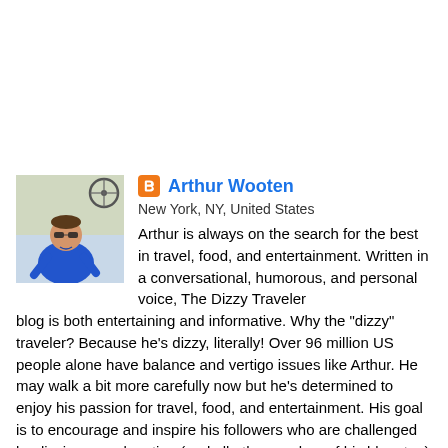[Figure (photo): Profile photo of Arthur Wooten, a man in a blue polo shirt wearing sunglasses, standing outdoors]
Arthur Wooten
New York, NY, United States
Arthur is always on the search for the best in travel, food, and entertainment. Written in a conversational, humorous, and personal voice, The Dizzy Traveler blog is both entertaining and informative. Why the "dizzy" traveler? Because he's dizzy, literally! Over 96 million US people alone have balance and vertigo issues like Arthur. He may walk a bit more carefully now but he's determined to enjoy his passion for travel, food, and entertainment. His goal is to encourage and inspire his followers who are challenged by dizziness and vertigo (and all other readers of his blog, too) to either get up, go out there and travel the world, or at the very least, live vicariously through his journeys. Arthur is also a screenwriter, a playwright, and a novelist, with 7